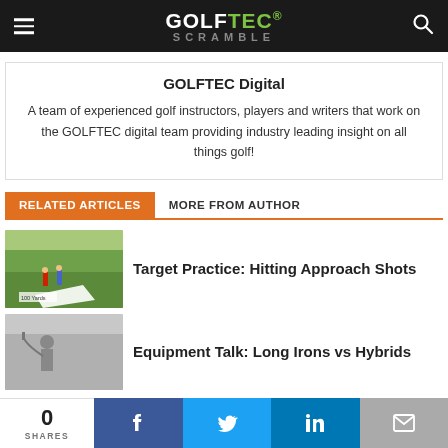GOLFTEC SCRAMBLE
GOLFTEC Digital
A team of experienced golf instructors, players and writers that work on the GOLFTEC digital team providing industry leading insight on all things golf!
RELATED ARTICLES   MORE FROM AUTHOR
[Figure (photo): Golf range thumbnail showing two golfers on a green field with a white target yardage marker reading 100 Yards]
Target Practice: Hitting Approach Shots
[Figure (photo): Golfer swinging a club indoors or in a gray-background setting]
Equipment Talk: Long Irons vs Hybrids
0 SHARES | Facebook | Twitter | LinkedIn | Email